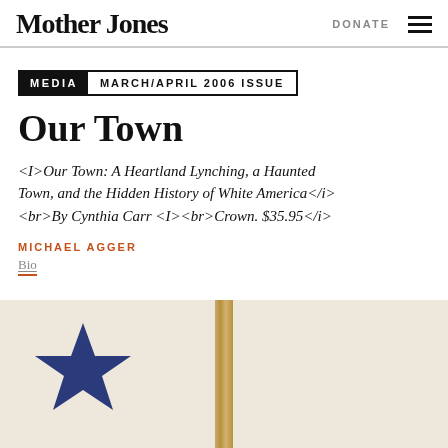Mother Jones | DONATE
MEDIA  MARCH/APRIL 2006 ISSUE
Our Town
<I>Our Town: A Heartland Lynching, a Haunted Town, and the Hidden History of White America</i><br>By Cynthia Carr <I><br>Crown. $35.95</i>
MICHAEL AGGER
Bio
[Figure (photo): Book cover image showing a blue star on a cream/beige background with a rope or cord running vertically through the center]